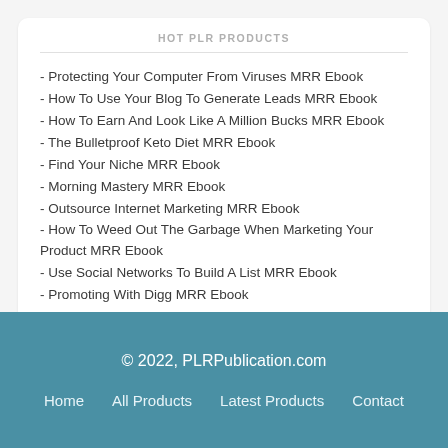HOT PLR PRODUCTS
- Protecting Your Computer From Viruses MRR Ebook
- How To Use Your Blog To Generate Leads MRR Ebook
- How To Earn And Look Like A Million Bucks MRR Ebook
- The Bulletproof Keto Diet MRR Ebook
- Find Your Niche MRR Ebook
- Morning Mastery MRR Ebook
- Outsource Internet Marketing MRR Ebook
- How To Weed Out The Garbage When Marketing Your Product MRR Ebook
- Use Social Networks To Build A List MRR Ebook
- Promoting With Digg MRR Ebook
© 2022, PLRPublication.com  Home  All Products  Latest Products  Contact